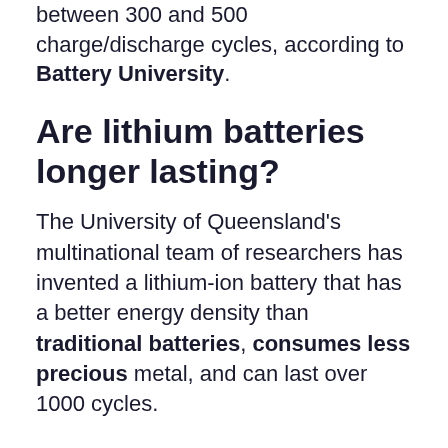between 300 and 500 charge/discharge cycles, according to Battery University.
Are lithium batteries longer lasting?
The University of Queensland's multinational team of researchers has invented a lithium-ion battery that has a better energy density than traditional batteries, consumes less precious metal, and can last over 1000 cycles.
Is Energizer The best battery?